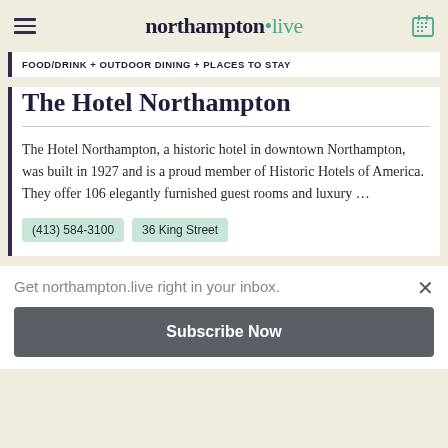northampton.live
FOOD/DRINK + OUTDOOR DINING + PLACES TO STAY
The Hotel Northampton
The Hotel Northampton, a historic hotel in downtown Northampton, was built in 1927 and is a proud member of Historic Hotels of America. They offer 106 elegantly furnished guest rooms and luxury …
(413) 584-3100
36 King Street
Get northampton.live right in your inbox.
Subscribe Now